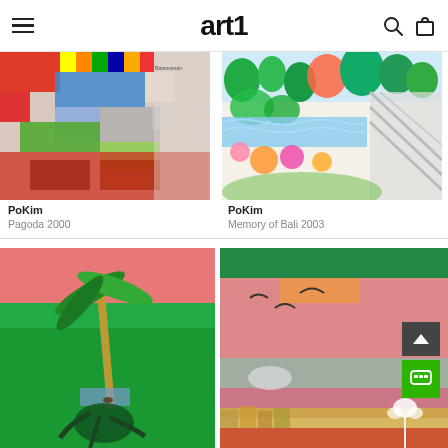art1
[Figure (illustration): Colorful aerial-view painting of patterned fields with various geometric shapes in reds, blues, greens, grays — artwork by PoKim, Pagoda 2000]
PoKim
Pagoda 2000
[Figure (illustration): Colorful drawing of tropical landscape with palm trees, ocean, flowers in pastel tones — artwork by PoKim, Memory of Bali 2003]
PoKim
Memory of Bali 2003
[Figure (illustration): Painting of a green tropical scene with a palm tree and pink sky by PoKim]
[Figure (illustration): Painting with pink, green and gray abstract landscape with birds and buildings by PoKim]